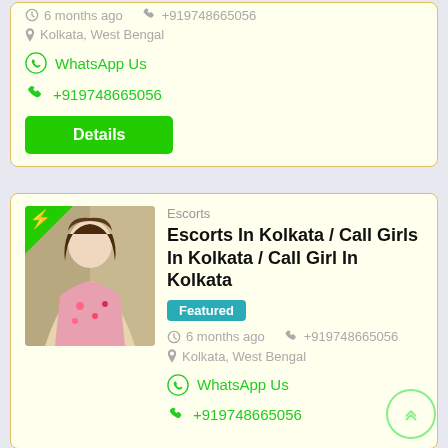6 months ago   +919748665056
Kolkata, West Bengal
WhatsApp Us
+919748665056
Details
Escorts
Escorts In Kolkata / Call Girls In Kolkata / Call Girl In Kolkata
Featured
6 months ago   +919748665056
Kolkata, West Bengal
WhatsApp Us
+919748665056